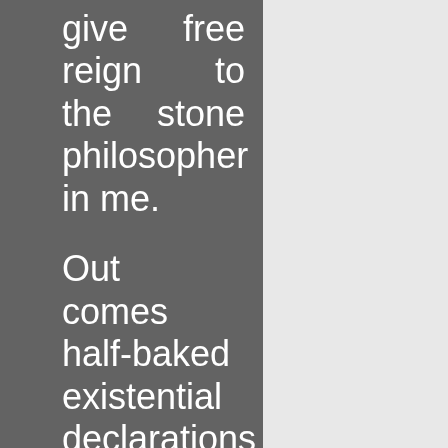give free reign to the stone philosopher in me.

Out comes half-baked existential declarations that usually hibernate in the pit of my chest, at a safe distance from people